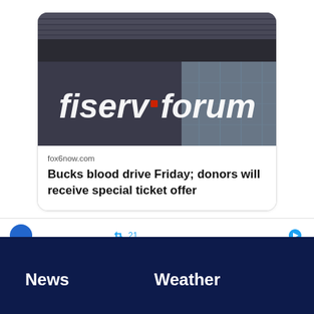[Figure (screenshot): Fiserv Forum building exterior sign at night, showing 'fiserv.forum' logo in white letters]
fox6now.com
Bucks blood drive Friday; donors will receive special ticket offer
News   Weather